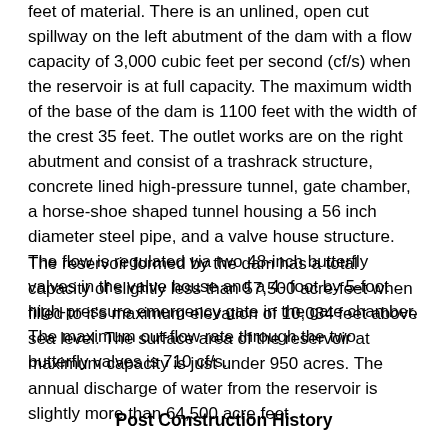feet of material. There is an unlined, open cut spillway on the left abutment of the dam with a flow capacity of 3,000 cubic feet per second (cf/s) when the reservoir is at full capacity. The maximum width of the base of the dam is 1100 feet with the width of the crest 35 feet. The outlet works are on the right abutment and consist of a trashrack structure, concrete lined high-pressure tunnel, gate chamber, a horse-shoe shaped tunnel housing a 56 inch diameter steel pipe, and a valve house structure. The flow is regulated via two 48-inch butterfly valves in the valve house and a 4- foot by 5-foot high-pressure emergency gate in the gate chamber. The maximum out-flow rate through the two butterfly valves is 710 cf/s.
The reservoir formed by the dam has a total capacity of slightly less than 57,500 acre-feet when filled to it's maximum elevation of 10,034 feet above sea level. The surface area of the reservoir at maximum capacity is just under 950 acres. The annual discharge of water from the reservoir is slightly more than 64,500 acre feet.
Post Construction History